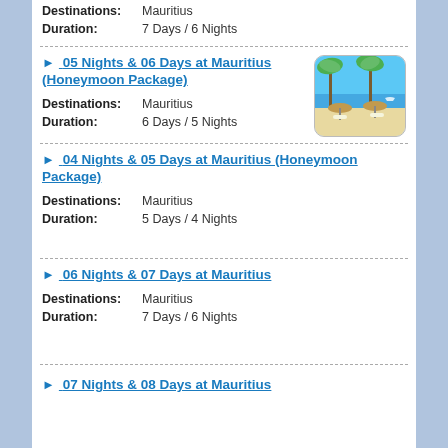Destinations: Mauritius
Duration: 7 Days / 6 Nights
05 Nights & 06 Days at Mauritius (Honeymoon Package)
Destinations: Mauritius
Duration: 6 Days / 5 Nights
[Figure (photo): Tropical beach scene with palm trees, thatched umbrellas, and beach chairs by the ocean in Mauritius]
04 Nights & 05 Days at Mauritius (Honeymoon Package)
Destinations: Mauritius
Duration: 5 Days / 4 Nights
06 Nights & 07 Days at Mauritius
Destinations: Mauritius
Duration: 7 Days / 6 Nights
07 Nights & 08 Days at Mauritius